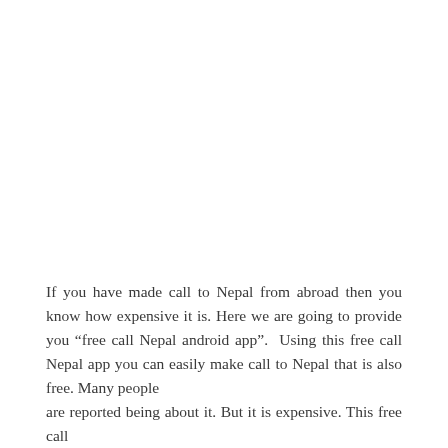If you have made call to Nepal from abroad then you know how expensive it is. Here we are going to provide you “free call Nepal android app”.  Using this free call Nepal app you can easily make call to Nepal that is also free. Many people are reported being about it. But it is expensive. This free call